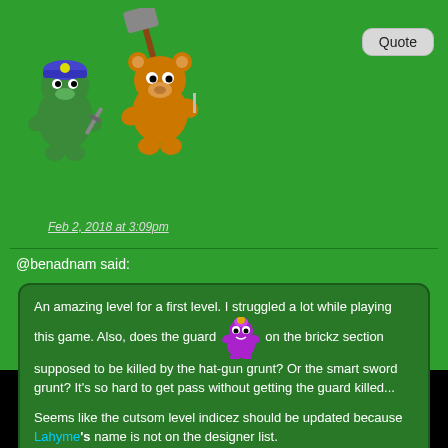[Figure (illustration): Two game character sprites: a green frog-like character with helmet on left, an orange bear-like character holding a shovel on right]
[Figure (other): Quote button in top right]
Feb 2, 2018 at 3:09pm
@benadnam said:
An amazing level for a first level. I struggled a lot while playing this game. Also, does the guard [sprite] on the brickz section supposed to be killed by the hat-gun grunt? Or the smart sword grunt? It's so hard to get pass without getting the guard killed...

Seems like the cutsom level indicez should be updated because Lahyme's name is not on the designer list.
Hello benadnam !
Thank you very much for testing my level 😀